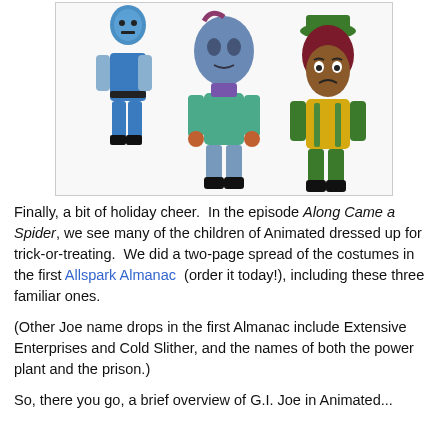[Figure (illustration): Three animated cartoon characters dressed in Halloween costumes: a blue robot/transformer character on the left, a blue-faced alien character in teal outfit in the middle, and a dark-skinned girl in green hat and yellow jacket on the right.]
Finally, a bit of holiday cheer.  In the episode Along Came a Spider, we see many of the children of Animated dressed up for trick-or-treating.  We did a two-page spread of the costumes in the first Allspark Almanac (order it today!), including these three familiar ones.
(Other Joe name drops in the first Almanac include Extensive Enterprises and Cold Slither, and the names of both the power plant and the prison.)
So, there you go, a brief overview of G.I. Joe in Animated...